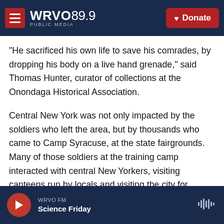WRVO 89.9 PUBLIC MEDIA — Donate
"He sacrificed his own life to save his comrades, by dropping his body on a live hand grenade," said Thomas Hunter, curator of collections at the Onondaga Historical Association.
Central New York was not only impacted by the soldiers who left the area, but by thousands who came to Camp Syracuse, at the state fairgrounds. Many of those soldiers at the training camp interacted with central New Yorkers, visiting canteens run by locals and visiting the city for dances and entertainment.
WRVO FM — Science Friday